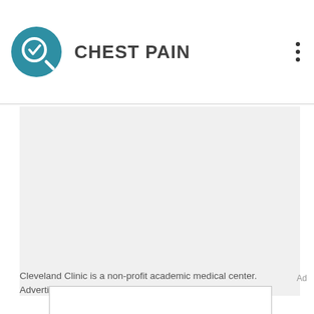[Figure (logo): Teal circular icon with a magnifying glass and checkmark, representing a medical symptom checker]
CHEST PAIN
[Figure (screenshot): Large light gray rectangular content area, blank/loading state]
Cleveland Clinic is a non-profit academic medical center. Advertising on our site helps support our
Ad
[Figure (other): White rectangular advertisement box with border]